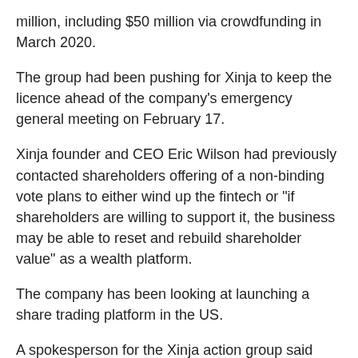million, including $50 million via crowdfunding in March 2020.
The group had been pushing for Xinja to keep the licence ahead of the company's emergency general meeting on February 17.
Xinja founder and CEO Eric Wilson had previously contacted shareholders offering of a non-binding vote plans to either wind up the fintech or "if shareholders are willing to support it, the business may be able to reset and rebuild shareholder value" as a wealth platform.
The company has been looking at launching a share trading platform in the US.
A spokesperson for the Xinja action group said they are now weighing up their options following the revocation of the licence.